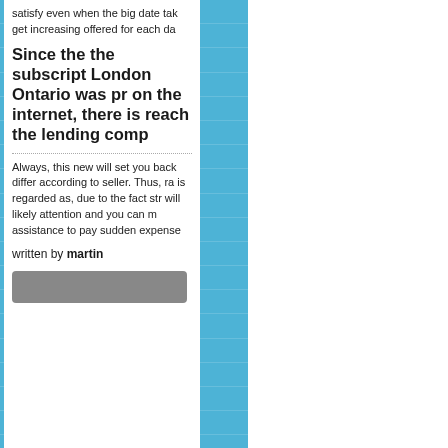321Chat visitors
420 Dating review
420-rencontres visitors
60 minute payday loans
60 minutes payday loans
a payday loans
abdlmatch dating
ABDLmatch review
ABDLmatch visitors
abenteuer-dating visitors
abilene escort
abilene escort index
ace cash express title loans
ace cash installment loans
adam4adam review
adam4adam sign in
adam4adam visitors
adult dating review
Adult dating sites visitors
Adult Hub visitors
adultfriendfinder adult dating
adultfriendfinder review
adultfriendfinder reviews
AdultFriendFinder visitors
satisfy even when the big date tak get increasing offered for each da
Since the the subscription London Ontario was pr on the internet, there is reach the lending comp
Always, this new will set you back differ according to seller. Thus, ra is regarded as, due to the fact str will likely attention and you can m assistance to pay sudden expense
written by martin